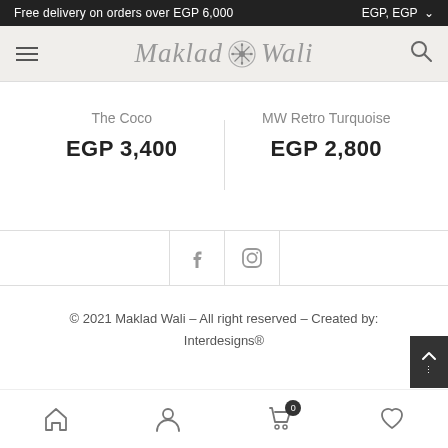Free delivery on orders over EGP 6,000   EGP, EGP
[Figure (logo): Maklad Wali logo with decorative snowflake emblem between stylized script text]
The Coco
EGP 3,400
MW Retro Turquoise
EGP 2,800
[Figure (infographic): Social media icons: Facebook (f) and Instagram (camera) buttons in square outlines]
© 2021 Maklad Wali – All right reserved – Created by: Interdesigns®